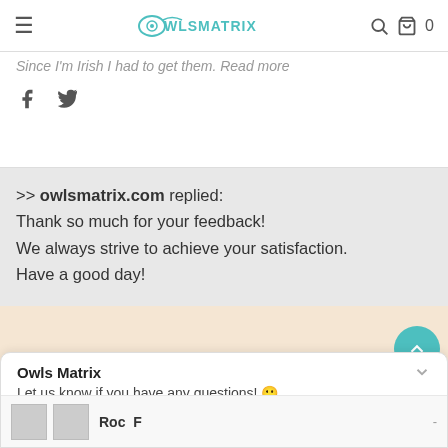OWLSMATRIX
Since I'm Irish I had to get them. Read more
>> owlsmatrix.com replied:
Thank so much for your feedback!
We always strive to achieve your satisfaction.
Have a good day!
Irish Stronger Style Limited Edition - Cross Open Back Camisole Tank Top 1 - OT01NGA110122
Owls Matrix
Let us know if you have any questions! 😊